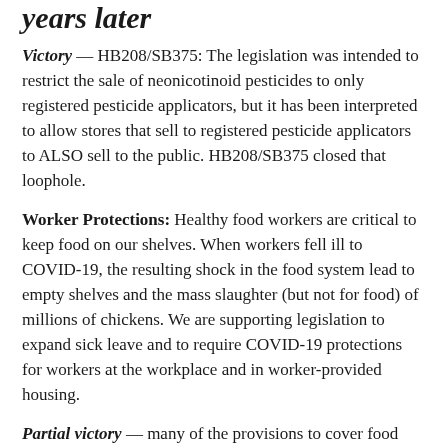years later
Victory — HB208/SB375: The legislation was intended to restrict the sale of neonicotinoid pesticides to only registered pesticide applicators, but it has been interpreted to allow stores that sell to registered pesticide applicators to ALSO sell to the public. HB208/SB375 closed that loophole.
Worker Protections: Healthy food workers are critical to keep food on our shelves. When workers fell ill to COVID-19, the resulting shock in the food system lead to empty shelves and the mass slaughter (but not for food) of millions of chickens. We are supporting legislation to expand sick leave and to require COVID-19 protections for workers at the workplace and in worker-provided housing.
Partial victory — many of the provisions to cover food and farmworkers under an Emergency Temporary Standard at work passed in HB581, the Maryland Essential Workers Act.
Visit our website for more information about victories and defeats in MD's 2021 session.